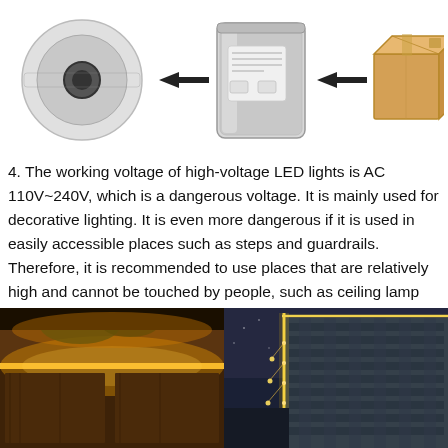[Figure (infographic): Three-step packaging diagram: LED strip reel → (arrow) → silver foil bag → (arrow) → cardboard shipping box]
4. The working voltage of high-voltage LED lights is AC 110V~240V, which is a dangerous voltage. It is mainly used for decorative lighting. It is even more dangerous if it is used in easily accessible places such as steps and guardrails.
Therefore, it is recommended to use places that are relatively high and cannot be touched by people, such as ceiling lamp troughs.
[Figure (photo): Two photos side by side: left shows warm LED strip lighting installed under kitchen cabinets; right shows LED strip lighting on the corner of a multi-story building at night]